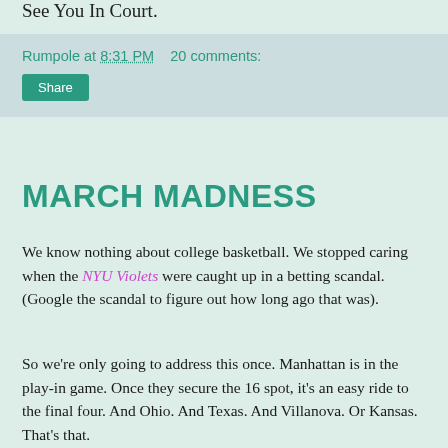See You In Court.
Rumpole at 8:31 PM   20 comments:
Share
MARCH MADNESS
We know nothing about college basketball. We stopped caring when the NYU Violets were caught up in a betting scandal. (Google the scandal to figure out how long ago that was).
So we're only going to address this once. Manhattan is in the play-in game. Once they secure the 16 spot, it's an easy ride to the final four. And Ohio. And Texas. And Villanova. Or Kansas. That's that.